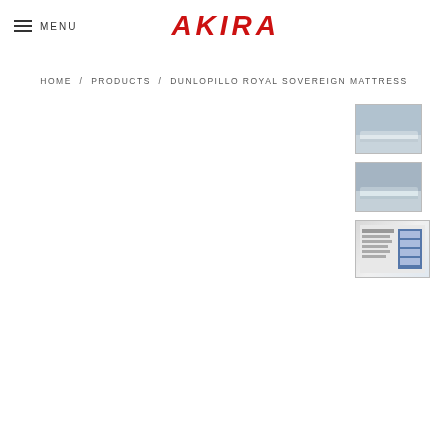MENU | AKIRA
HOME / PRODUCTS / DUNLOPILLO ROYAL SOVEREIGN MATTRESS
[Figure (photo): Thumbnail image 1 of Dunlopillo Royal Sovereign Mattress in a bedroom setting]
[Figure (photo): Thumbnail image 2 of Dunlopillo Royal Sovereign Mattress in a bedroom setting]
[Figure (photo): Thumbnail image 3 showing product specification chart for Dunlopillo Royal Sovereign Mattress]